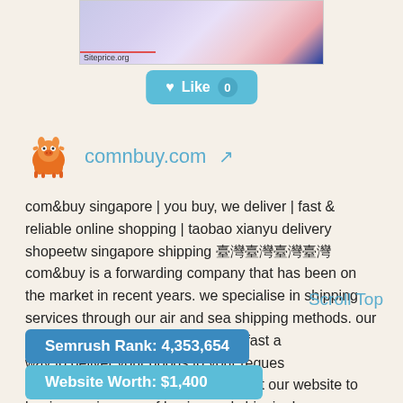[Figure (screenshot): Website screenshot thumbnail with colorful gradient background showing Siteprice.org label]
[Figure (other): Like button with heart icon showing count 0]
comnbuy.com [external link icon]
com&buy singapore | you buy, we deliver | fast & reliable online shopping | taobao xianyu delivery shopeetw singapore shipping 臺灣台灣台灣台灣
com&buy is a forwarding company that has been on the market in recent years. we specialise in shipping services through our air and sea shipping methods. our aim is to provide customers with a fast a way to deliver your goods to your reques without any hassle. register with us at our website to begin your journey of buying and shipping!
Scroll Top
Semrush Rank: 4,353,654
Website Worth: $1,400